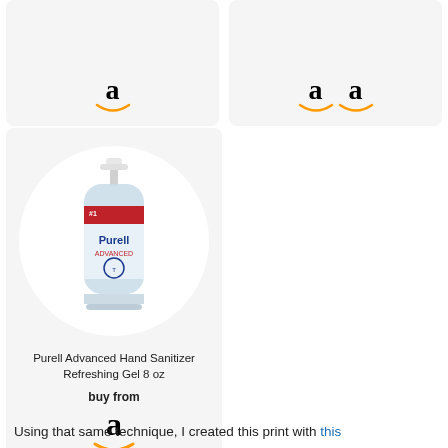[Figure (screenshot): Partial product card top-left showing Amazon logo]
[Figure (screenshot): Partial product card top-right showing two Amazon logos]
[Figure (photo): Product card for Purell Advanced Hand Sanitizer Refreshing Gel 8 oz with circular product image and Amazon buy button]
Purell Advanced Hand Sanitizer Refreshing Gel 8 oz
buy from
Using that same technique, I created this print with this